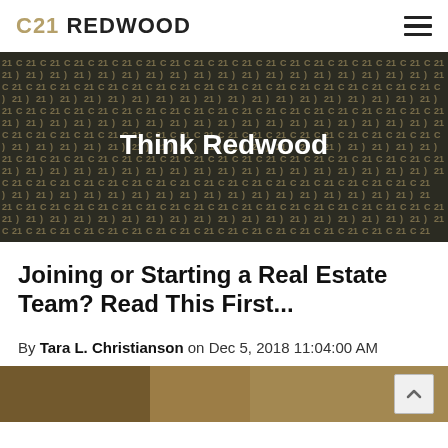C21 REDWOOD
[Figure (illustration): Dark banner with repeating C21 logo pattern and centered white text 'Think Redwood']
Joining or Starting a Real Estate Team? Read This First...
By Tara L. Christianson on Dec 5, 2018 11:04:00 AM
[Figure (photo): Partial image at bottom of page showing people in a real estate office setting]